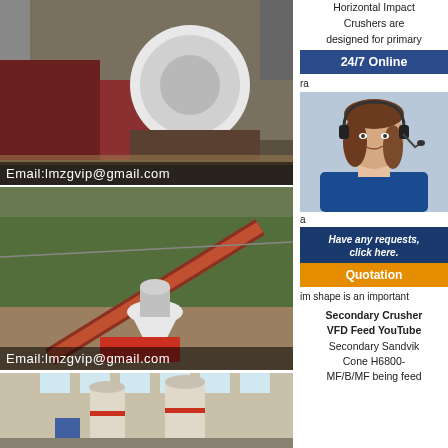[Figure (photo): Industrial horizontal impact crusher machine in a factory setting]
[Figure (photo): Cone crusher with conveyor belt in an outdoor quarry setting]
[Figure (photo): Grinding mill machines inside an industrial building]
Horizontal Impact Crushers are designed for primary
24/7 Online
ra
[Figure (photo): Customer service agent with headset smiling]
a
Have any requests, click here.
Quotation
im shape is an important
Secondary Crusher VFD Feed YouTube
Secondary Sandvik Cone H6800-MF/B/MF being feed